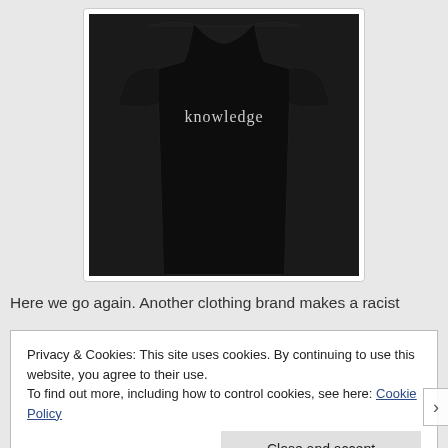[Figure (photo): Black t-shirt with the word 'knowledge' printed in white serif text on the chest, displayed on a white background inside a bordered box]
Here we go again. Another clothing brand makes a racist
Privacy & Cookies: This site uses cookies. By continuing to use this website, you agree to their use.
To find out more, including how to control cookies, see here: Cookie Policy
Close and accept